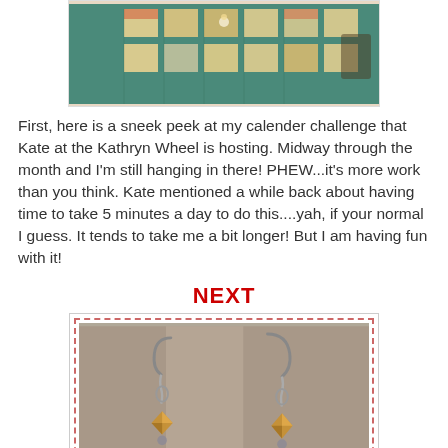[Figure (photo): Partial view of a handmade calendar art project with colorful squares, papers, and mixed media on a teal/green background]
First, here is a sneek peek at my calender challenge that Kate at the Kathryn Wheel is hosting. Midway through the month and I'm still hanging in there! PHEW...it's more work than you think. Kate mentioned a while back about having time to take 5 minutes a day to do this....yah, if your normal I guess. It tends to take me a bit longer! But I am having fun with it!
NEXT
[Figure (photo): Photo of two handmade wire-wrapped earrings with amber/yellow faceted crystal beads, displayed on a neutral background]